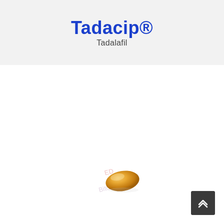Tadacip®
Tadalafil
[Figure (photo): A single small oval orange/golden tablet pill, with a watermark text reading 'ED Bitcoin' overlaid on the image]
[Figure (other): Back-to-top navigation button (dark square with double chevron up arrow)]